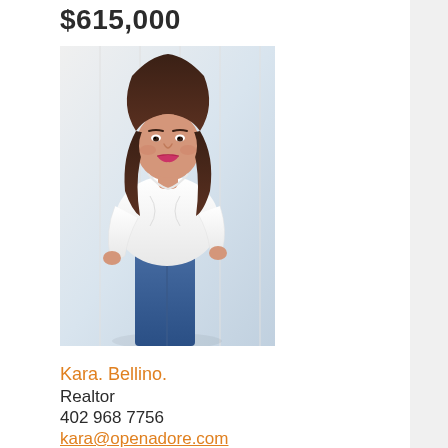$615,000
[Figure (photo): Professional headshot photo of a woman with dark brown hair wearing a white blouse and blue jeans, standing against a white background]
Kara. Bellino.
Realtor
402 968 7756
kara@openadore.com
Contact Kara for a private showing.